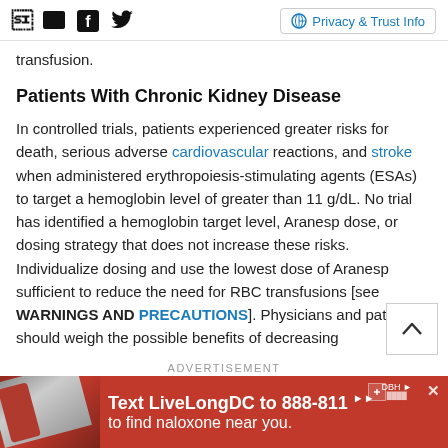Social icons (Facebook, Twitter) | Privacy & Trust Info
transfusion.
Patients With Chronic Kidney Disease
In controlled trials, patients experienced greater risks for death, serious adverse cardiovascular reactions, and stroke when administered erythropoiesis-stimulating agents (ESAs) to target a hemoglobin level of greater than 11 g/dL. No trial has identified a hemoglobin target level, Aranesp dose, or dosing strategy that does not increase these risks. Individualize dosing and use the lowest dose of Aranesp sufficient to reduce the need for RBC transfusions [see WARNINGS AND PRECAUTIONS]. Physicians and patients should weigh the possible benefits of decreasing
[Figure (other): Advertisement banner: Text LiveLongDC to 888-811 to find naloxone near you. Red background with hand holding naloxone and DBH logo.]